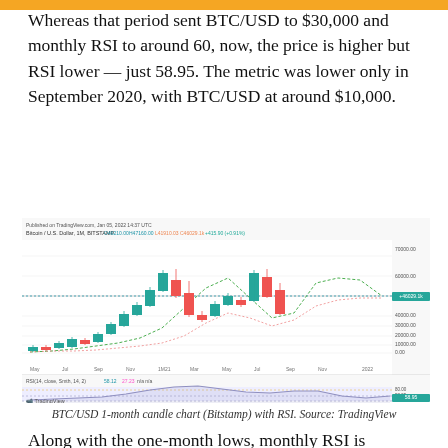Whereas that period sent BTC/USD to $30,000 and monthly RSI to around 60, now, the price is higher but RSI lower — just 58.95. The metric was lower only in September 2020, with BTC/USD at around $10,000.
[Figure (continuous-plot): BTC/USD 1-month candlestick chart (Bitstamp) with RSI indicator below. Chart shows monthly candles from May 2020 to early 2022. Candlestick chart on top shows price rising from ~$10,000 to ~$60,000+ with green (up) and red (down) candles. RSI panel below shows RSI(14) value of 58.95 with overbought/oversold levels marked. Published on TradingView.com, Jan 05, 2022 14:37 UTC.]
BTC/USD 1-month candle chart (Bitstamp) with RSI. Source: TradingView
Along with the one-month lows, monthly RSI is additionally printing a pattern that has only been